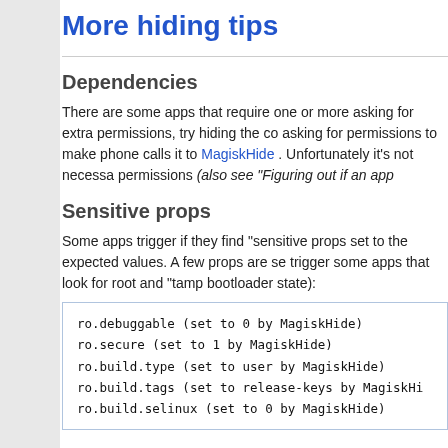More hiding tips
Dependencies
There are some apps that require one or more asking for extra permissions, try hiding the co asking for permissions to make phone calls it to MagiskHide . Unfortunately it's not necessa permissions (also see "Figuring out if an app
Sensitive props
Some apps trigger if they find "sensitive props set to the expected values. A few props are se trigger some apps that look for root and "tamp bootloader state):
ro.debuggable (set to 0 by MagiskHide)
ro.secure (set to 1 by MagiskHide)
ro.build.type (set to user by MagiskHide)
ro.build.tags (set to release-keys by MagiskHi
ro.build.selinux (set to 0 by MagiskHide)